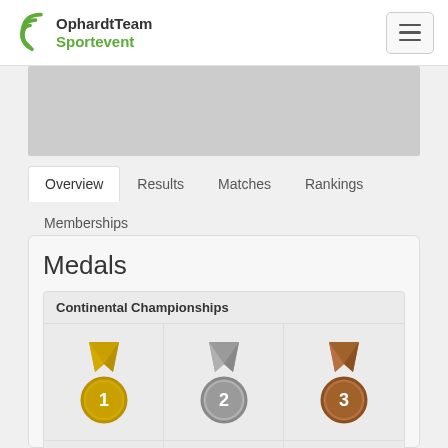OphardtTeam Sportevent
[Figure (other): Gray image placeholder banner]
Overview
Results
Matches
Rankings
Memberships
Medals
| Gold | Silver | Bronze |
| --- | --- | --- |
| 0 | 1 | 4 |
Continental Championships